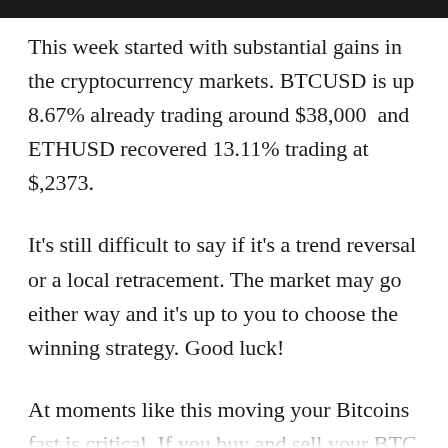This week started with substantial gains in the cryptocurrency markets. BTCUSD is up 8.67% already trading around $38,000  and ETHUSD recovered 13.11% trading at $,2373.
It's still difficult to say if it's a trend reversal or a local retracement. The market may go either way and it's up to you to choose the winning strategy. Good luck!
At moments like this moving your Bitcoins fast is critical. If you buy and sell your BTC on Binance or store it at any service that supports BEP-20